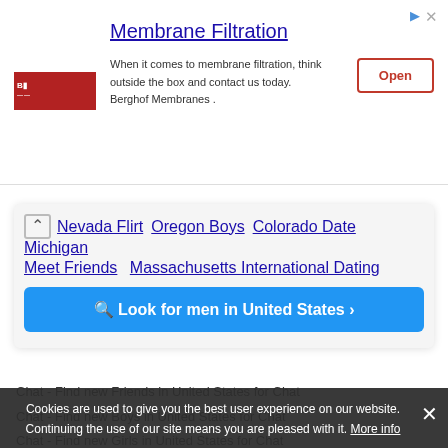[Figure (screenshot): Advertisement banner for Berghof Membranes - Membrane Filtration with logo, text, and Open button]
Nevada Flirt   Oregon Boys   Colorado Date   Michigan
Meet Friends   Massachusetts International Dating
Look for men in United States
Chat - Find new Friends in United States for Chat
Chat - Find new Boys in United States for Chat
Chat - Find new Girls in United States for Chat
Chat - Find new Friends in Vermont for flirting
Cookies are used to give you the best user experience on our website. Continuing the use of our site means you are pleased with it. More info